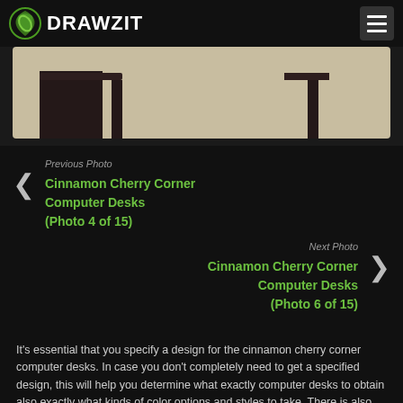DRAWZIT
[Figure (photo): Partial view of a cinnamon cherry corner computer desk on a light wood floor, showing dark furniture legs and lower portion of desk]
Previous Photo
Cinnamon Cherry Corner Computer Desks (Photo 4 of 15)
Next Photo
Cinnamon Cherry Corner Computer Desks (Photo 6 of 15)
It's essential that you specify a design for the cinnamon cherry corner computer desks. In case you don't completely need to get a specified design, this will help you determine what exactly computer desks to obtain also exactly what kinds of color options and styles to take. There is also suggestions by looking for on online forums, browsing through furniture catalogs, accessing several furniture stores then taking note of suggestions that you prefer.